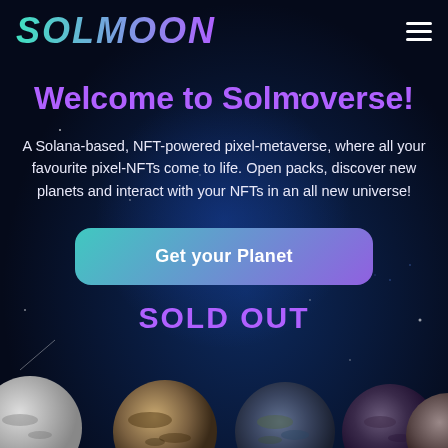SOLMOON
Welcome to Solmoverse!
A Solana-based, NFT-powered pixel-metaverse, where all your favourite pixel-NFTs come to life. Open packs, discover new planets and interact with your NFTs in an all new universe!
Get your Planet
SOLD OUT
[Figure (illustration): Row of pixel-art planet spheres partially visible along the bottom edge of the page, showing various textures (rocky, earthy, dark). Set against a dark space background.]